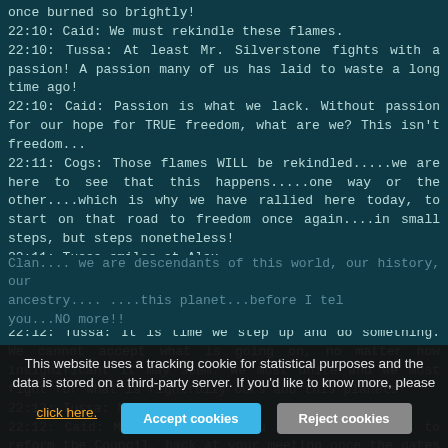once burned so brightly!
22:10: Caid: We must rekindle these flames.
22:10: Tussa: At least Mr. Silverstone fights with a passion! A passion many of us has laid to waste a long time ago!
22:10: Caid: Passion is what we lack. Without passion for our hope for TRUE freedom, what are we? This isn't freedom...
22:11: Cogs: Those flames WILL be rekindled.....we are here to see that this happens.....one way or the other....which is why we have rallied here today, to start on that road to freedom once again....in small steps, but steps nonetheless!
22:11: Tussa smiles at Alex
22:11: Caid: Step by Step, we will regain what we have lost.
22:11: Caid: And it starts today.
22:12: Tussa: It is time we step up and do something. We cannot accept what is going on, no matter how insignificant it may seem. We must unite and we must fight for what is rightfully ours and this planets!
22:12: Tussa: No more sleeping!
22:12: Caid: Mister Radiman, you spoke of the want to reform the Council, back at your meeting once the gates to the Shadowlands had opened. Is this still true?
22:12: Cogs: We cannot idly sit by, and watch the clans become...
Clan.... we are descendants of this world, our history, our ancestry.... ....this planet...before I tel you...NO more!!
This website uses a tracking cookie for statistical purposes and the data is stored on a third-party server. If you'd like to know more, please click here.
Accept cookies
Reject cookies